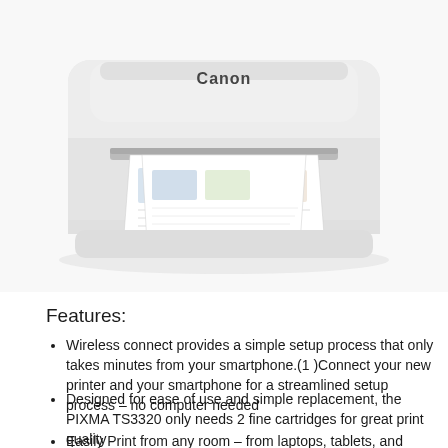[Figure (photo): Canon PIXMA printer (white) shown from the front with printed pages coming out of the paper output slot. The Canon logo is visible on the front face.]
Features:
Wireless connect provides a simple setup process that only takes minutes from your smartphone.(1 )Connect your new printer and your smartphone for a streamlined setup process – no computer needed
Designed for ease of use and simple replacement, the PIXMA TS3320 only needs 2 fine cartridges for great print quality
Easily Print from any room – from laptops, tablets, and smartphones – with built-in wi-fi(1)
With AirPrint offer the only Print from your iPhone, iPad...